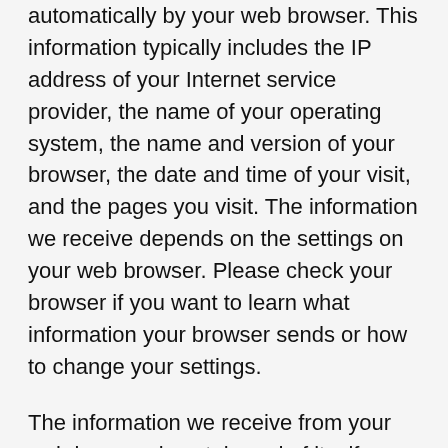automatically by your web browser. This information typically includes the IP address of your Internet service provider, the name of your operating system, the name and version of your browser, the date and time of your visit, and the pages you visit. The information we receive depends on the settings on your web browser. Please check your browser if you want to learn what information your browser sends or how to change your settings.
The information we receive from your web browser is not, in and of itself, personally identifiable. Generally, we use this information to help us improve this Site (for example, by making it more compatible with the technology used by our visitors) and to improve our marketing efforts (for example, by identifying your general geographic